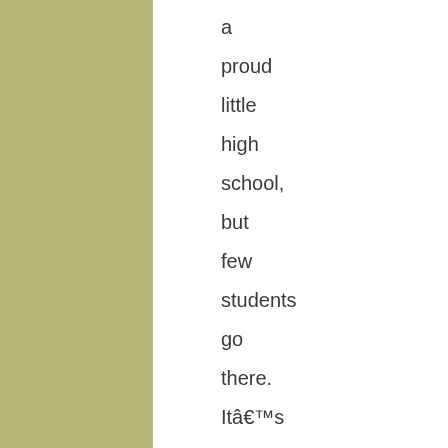a proud little high school, but few students go there. It’s football team, the Trona Tornadoes, practice on a dirt field,